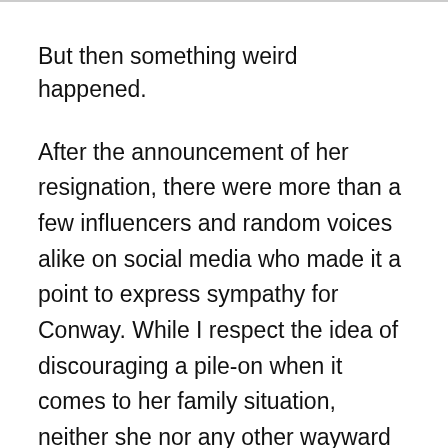But then something weird happened.
After the announcement of her resignation, there were more than a few influencers and random voices alike on social media who made it a point to express sympathy for Conway. While I respect the idea of discouraging a pile-on when it comes to her family situation, neither she nor any other wayward Trump lieutenants deserve our sympathy. Not now, not ever. The only Trumpers who might get a pass on this front are the ones who did the right thing by blowing the whistle on their former boss, and even they ought to be prosecuted for any crimes uncovered, not unlike the aforementioned Michael Col...